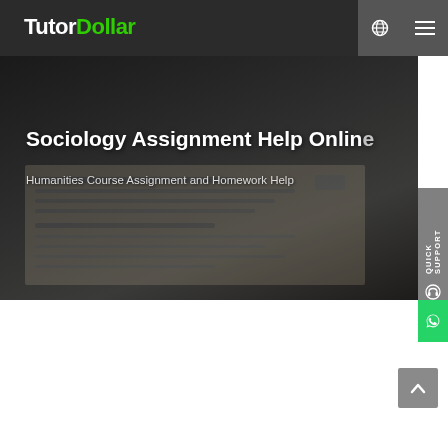TutorDollar
[Figure (screenshot): TutorDollar website hero section with dark background showing a document/paper in the background. Contains heading 'Sociology Assignment Help Online' and subtitle 'Humanities Course Assignment and Homework Help'. Right side has Quick Support tab and WhatsApp button. Navigation header with globe and hamburger menu icons.]
Sociology Assignment Help Online
Humanities Course Assignment and Homework Help